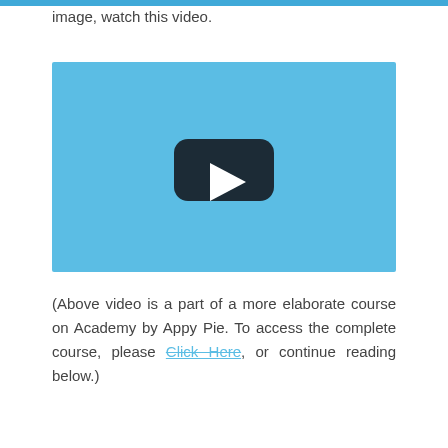image, watch this video.
[Figure (screenshot): Video player placeholder with light blue background and a dark rounded rectangle play button in the center]
(Above video is a part of a more elaborate course on Academy by Appy Pie. To access the complete course, please Click Here, or continue reading below.)